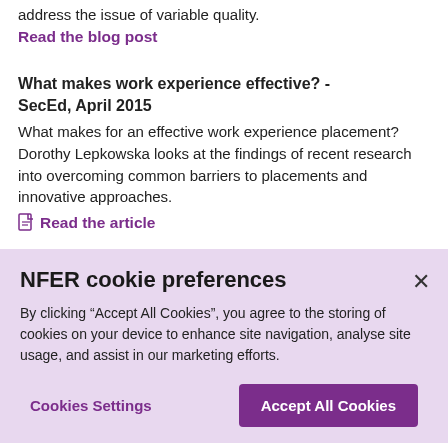address the issue of variable quality.
Read the blog post
What makes work experience effective? - SecEd, April 2015
What makes for an effective work experience placement? Dorothy Lepkowska looks at the findings of recent research into overcoming common barriers to placements and innovative approaches.
Read the article
Engaging with SMEs - SecEd, March 2015
NFER cookie preferences
By clicking “Accept All Cookies”, you agree to the storing of cookies on your device to enhance site navigation, analyse site usage, and assist in our marketing efforts.
Cookies Settings
Accept All Cookies